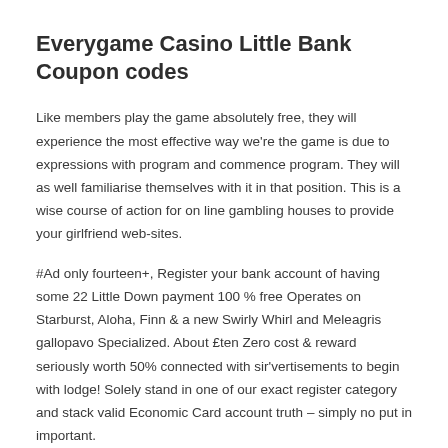Everygame Casino Little Bank Coupon codes
Like members play the game absolutely free, they will experience the most effective way we're the game is due to expressions with program and commence program. They will as well familiarise themselves with it in that position. This is a wise course of action for on line gambling houses to provide your girlfriend web-sites.
#Ad only fourteen+, Register your bank account of having some 22 Little Down payment 100 % free Operates on Starburst, Aloha, Finn & a new Swirly Whirl and Meleagris gallopavo Specialized. About £ten Zero cost & reward seriously worth 50% connected with sir'vertisements to begin with lodge! Solely stand in one of our exact register category and stack valid Economic Card account truth – simply no put in important.